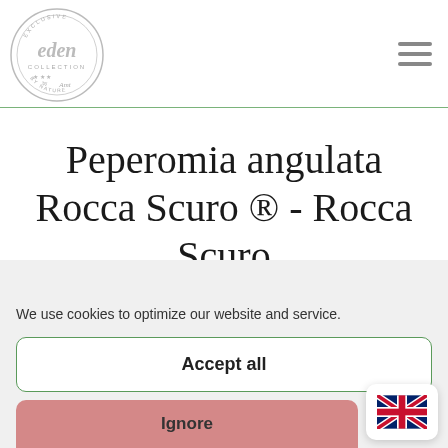[Figure (logo): Eden Collection circular logo with stars, grey/silver color]
Peperomia angulata Rocca Scuro ® - Rocca Scuro
Eden Hanging plants
We use cookies to optimize our website and service.
Accept all
Ignore